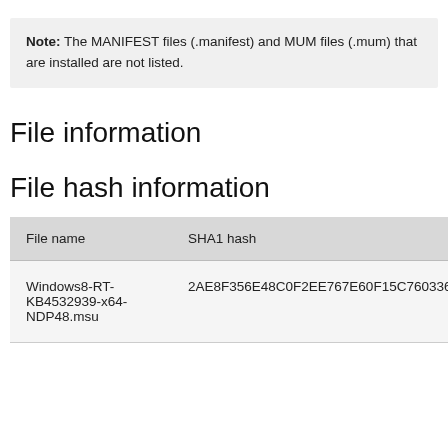Note: The MANIFEST files (.manifest) and MUM files (.mum) that are installed are not listed.
File information
File hash information
| File name | SHA1 hash |
| --- | --- |
| Windows8-RT-KB4532939-x64-NDP48.msu | 2AE8F356E48C0F2EE767E60F15C76033682477F |